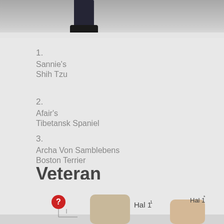[Figure (photo): Partial photo showing the lower portion of a person's legs/feet wearing dark dress shoes on a light floor]
1.
Sannie's
Shih Tzu
2.
Afair's
Tibetansk Spaniel
3.
Archa Von Samblebens
Boston Terrier
Veteran
Dommer: Inga Siil
[Figure (photo): Photo showing people at what appears to be a dog show venue with signs reading 'Hal 1']